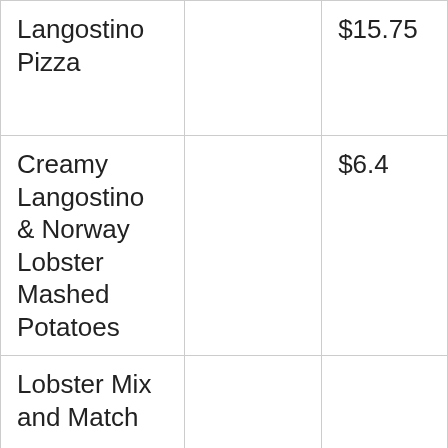| Item |  | Price |
| --- | --- | --- |
| Langostino Pizza |  | $15.75 |
| Creamy Langostino & Norway Lobster Mashed Potatoes |  | $6.4 |
| Lobster Mix and Match |  |  |
| Wood-Grilled Lobster and Red Shrimp |  | $15.99 |
| Lobster... |  |  |